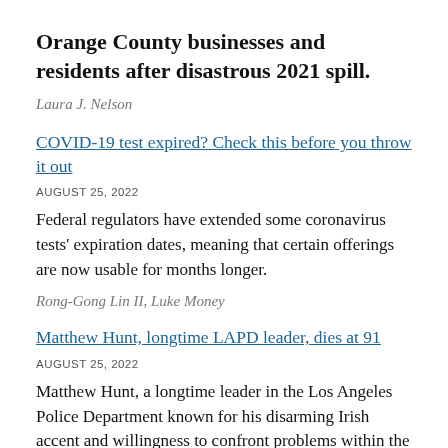Orange County businesses and residents after disastrous 2021 spill.
Laura J. Nelson
COVID-19 test expired? Check this before you throw it out
AUGUST 25, 2022
Federal regulators have extended some coronavirus tests' expiration dates, meaning that certain offerings are now usable for months longer.
Rong-Gong Lin II, Luke Money
Matthew Hunt, longtime LAPD leader, dies at 91
AUGUST 25, 2022
Matthew Hunt, a longtime leader in the Los Angeles Police Department known for his disarming Irish accent and willingness to confront problems within the